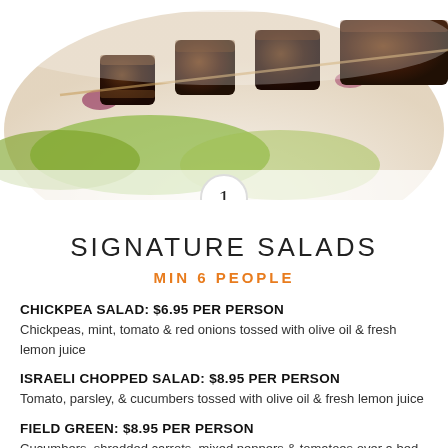[Figure (photo): Food photo showing grilled meat skewers on a bed of lettuce and vegetables in a white bowl]
SIGNATURE SALADS
MIN 6 PEOPLE
CHICKPEA SALAD: $6.95 PER PERSON
Chickpeas, mint, tomato & red onions tossed with olive oil & fresh lemon juice
ISRAELI CHOPPED SALAD: $8.95 PER PERSON
Tomato, parsley, & cucumbers tossed with olive oil & fresh lemon juice
FIELD GREEN: $8.95 PER PERSON
Cucumbers, shredded carrots, mixed peppers & tomatoes over a bed of